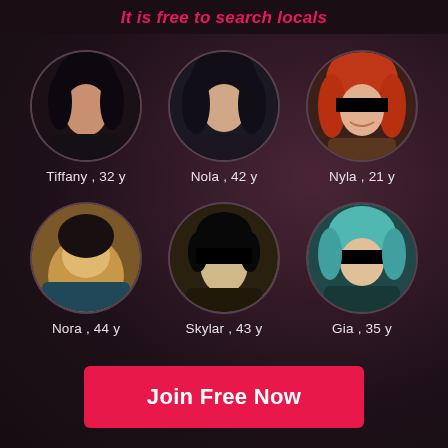It is free to search locals
[Figure (photo): Profile photo of Tiffany, 32y - circular avatar]
Tiffany , 32 y
[Figure (photo): Profile photo of Nola, 42y - circular avatar]
Nola , 42 y
[Figure (photo): Profile photo of Nyla, 21y - circular avatar with censor bar]
Nyla , 21 y
[Figure (photo): Profile photo of Nora, 44y - circular avatar]
Nora , 44 y
[Figure (photo): Profile photo of Skylar, 43y - circular avatar with censor bar]
Skylar , 43 y
[Figure (photo): Profile photo of Gia, 35y - circular avatar with censor bar]
Gia , 35 y
Join Free Now